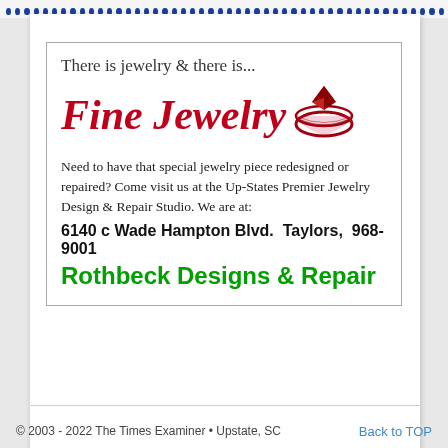[Figure (other): Row of blue dots across top of page]
There is jewelry & there is...
Fine Jewelry
Need to have that special jewelry piece redesigned or repaired? Come visit us at the Up-States Premier Jewelry Design & Repair Studio. We are at:
6140 c Wade Hampton Blvd.  Taylors,  968-9001
Rothbeck Designs & Repair
© 2003 - 2022 The Times Examiner • Upstate, SC
Back to TOP